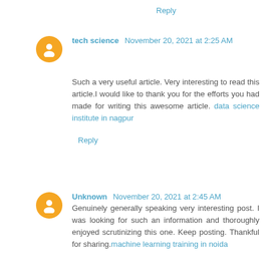Reply
tech science  November 20, 2021 at 2:25 AM
Such a very useful article. Very interesting to read this article.I would like to thank you for the efforts you had made for writing this awesome article. data science institute in nagpur
Reply
Unknown  November 20, 2021 at 2:45 AM
Genuinely generally speaking very interesting post. I was looking for such an information and thoroughly enjoyed scrutinizing this one. Keep posting. Thankful for sharing.machine learning training in noida